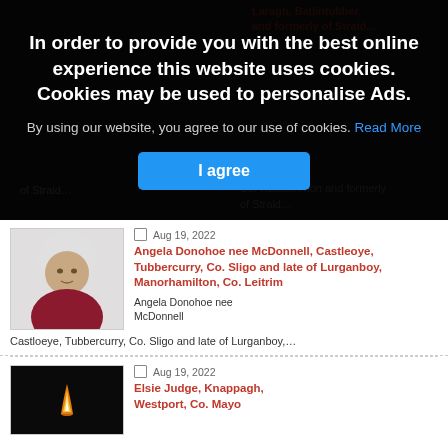In order to provide you with the best online experience this website uses cookies. Cookies may be used to personalise Ads.
By using our website, you agree to our use of cookies. Read More
I agree
[Figure (photo): Portrait photo of Angela Donohoe nee McDonnell, elderly woman with white hair wearing a dark red/maroon wrap]
Aug 19, 2022
Angela Donohoe nee McDonnell, Castleoye, Tubbercurry, Co. Sligo and late of Lurganboy, Manorhamilton, Co. Leitrim
Angela Donohoe nee McDonnell
Castloeye, Tubbercurry, Co. Sligo and late of Lurganboy,...
[Figure (photo): Dark image showing a candle flame against black background]
Aug 19, 2022
Elsie Judge, Knappagh, Westport, Co. Mayo